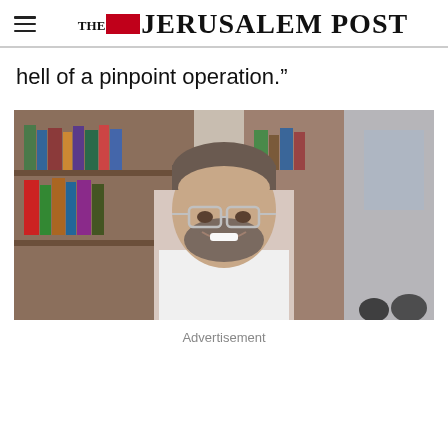THE JERUSALEM POST
hell of a pinpoint operation.”
[Figure (photo): A smiling bearded man with glasses wearing a white shirt, seated in front of a bookshelf in an office setting.]
Advertisement